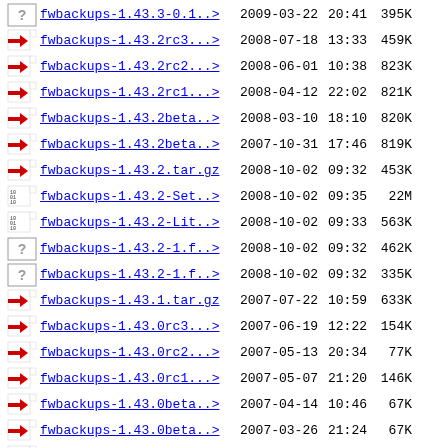fwbackups-1.43.3-0.1..>  2009-03-22 20:41  395K
fwbackups-1.43.2rc3...>  2008-07-18 13:33  459K
fwbackups-1.43.2rc2...>  2008-06-01 10:38  823K
fwbackups-1.43.2rc1...>  2008-04-12 22:02  821K
fwbackups-1.43.2beta..>  2008-03-10 18:10  820K
fwbackups-1.43.2beta..>  2007-10-31 17:46  819K
fwbackups-1.43.2.tar.gz  2008-10-02 09:32  453K
fwbackups-1.43.2-Set..>  2008-10-02 09:35   22M
fwbackups-1.43.2-Lit..>  2008-10-02 09:33  563K
fwbackups-1.43.2-1.f..>  2008-10-02 09:32  462K
fwbackups-1.43.2-1.f..>  2008-10-02 09:32  335K
fwbackups-1.43.1.tar.gz  2007-07-22 10:59  633K
fwbackups-1.43.0rc3...>  2007-06-19 12:22  154K
fwbackups-1.43.0rc2...>  2007-05-13 20:34   77K
fwbackups-1.43.0rc1...>  2007-05-07 21:20  146K
fwbackups-1.43.0beta..>  2007-04-14 10:46   67K
fwbackups-1.43.0beta..>  2007-03-26 21:24   67K
fwbackups-1.43.0beta..>  2007-03-10 10:01   67K